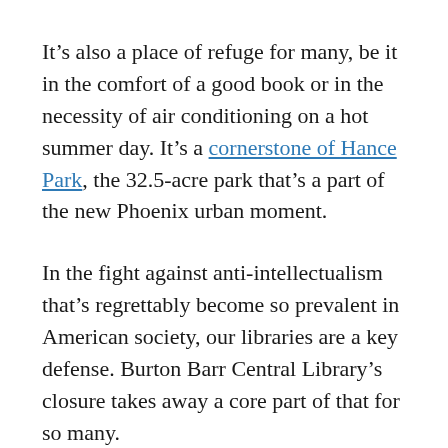It's also a place of refuge for many, be it in the comfort of a good book or in the necessity of air conditioning on a hot summer day. It's a cornerstone of Hance Park, the 32.5-acre park that's a part of the new Phoenix urban moment.
In the fight against anti-intellectualism that's regrettably become so prevalent in American society, our libraries are a key defense. Burton Barr Central Library's closure takes away a core part of that for so many.
All City leaders should commit the City's resources to opening the building ahead of